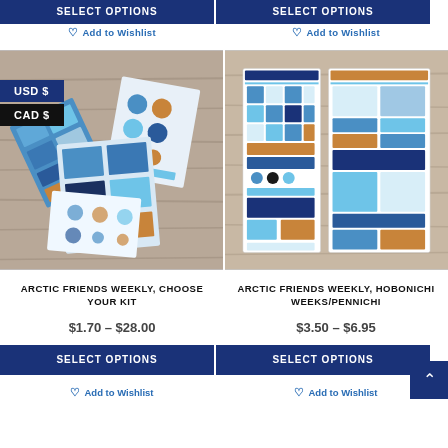SELECT OPTIONS
SELECT OPTIONS
Add to Wishlist
Add to Wishlist
[Figure (photo): Sticker sheets fanned out on wooden background with arctic/winter theme featuring penguins, owls, polar bears in blue, orange, black tones. Currency badge showing USD $ and CAD $ overlaid on top left.]
[Figure (photo): Two sticker kit sheets laid flat on wooden background showing blue arctic-themed planner stickers in organized grid format.]
ARCTIC FRIENDS WEEKLY, CHOOSE YOUR KIT
ARCTIC FRIENDS WEEKLY, HOBONICHI WEEKS/PENNICHI
$1.70 – $28.00
$3.50 – $6.95
SELECT OPTIONS
SELECT OPTIONS
Add to Wishlist
Add to Wishlist